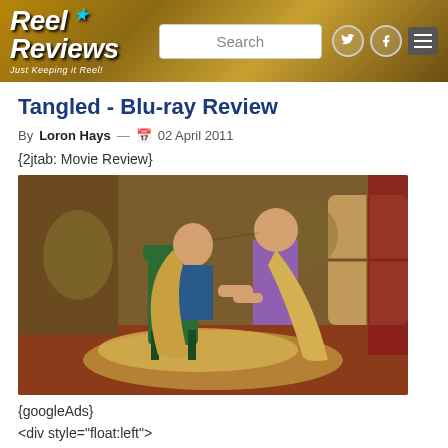Reel Reviews — Just Keeping it Reel! [Search box] [Twitter] [Facebook] [Menu]
Tangled - Blu-ray Review
By Loron Hays — 02 April 2011
{2jtab: Movie Review}
[Figure (photo): Scene from Disney's Tangled animated film showing Flynn Rider tied to a chair with Rapunzel's golden hair, leaning toward Rapunzel who stands in a purple dress inside a decorated room.]
{googleAds}
<div style="float:left">